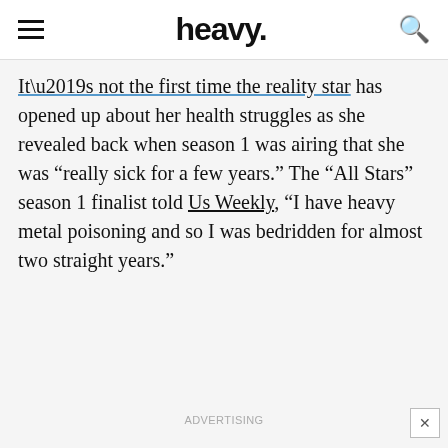heavy.
It’s not the first time the reality star has opened up about her health struggles as she revealed back when season 1 was airing that she was “really sick for a few years.” The “All Stars” season 1 finalist told Us Weekly, “I have heavy metal poisoning and so I was bedridden for almost two straight years.”
ADVERTISING